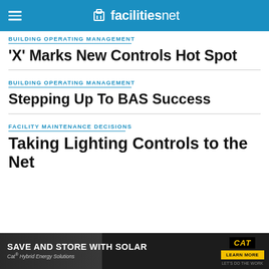facilitiesnet
BUILDING OPERATING MANAGEMENT
'X' Marks New Controls Hot Spot
BUILDING OPERATING MANAGEMENT
Stepping Up To BAS Success
FACILITY MAINTENANCE DECISIONS
Taking Lighting Controls to the Net
[Figure (infographic): Advertisement banner: SAVE AND STORE WITH SOLAR — Cat Hybrid Energy Solutions, with Learn More button and CAT logo]